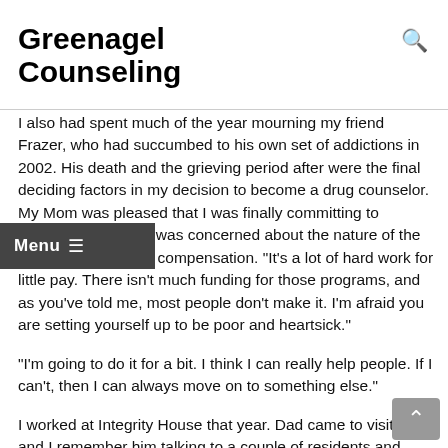Greenagel Counseling
I also had spent much of the year mourning my friend Frazer, who had succumbed to his own set of addictions in 2002. His death and the grieving period after were the final deciding factors in my decision to become a drug counselor. My Mom was pleased that I was finally committing to something; my Dad was concerned about the nature of the work, as well as the compensation. "It's a lot of hard work for little pay. There isn't much funding for those programs, and as you've told me, most people don't make it. I'm afraid you are setting yourself up to be poor and heartsick."
"I'm going to do it for a bit. I think I can really help people. If I can't, then I can always move on to something else."
I worked at Integrity House that year. Dad came to visit once and I remember him talking to a couple of residents and being horrified by the trauma in their stories. "How would people like us ever even know about the kind of suffering